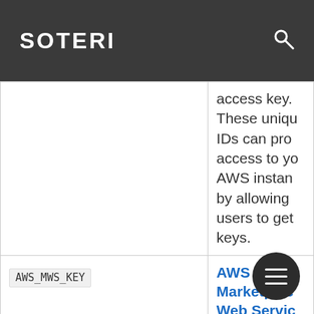SOTERI
| Key | Description |
| --- | --- |
|  | access key. These unique IDs can provide access to your AWS instance by allowing users to get keys. |
| AWS_MWS_KEY | AWS Marketplace Web Service API Keys are programmatic interfaces t... |